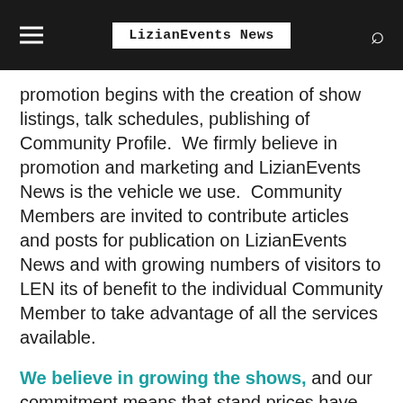LizianEvents News
promotion begins with the creation of show listings, talk schedules, publishing of Community Profile.  We firmly believe in promotion and marketing and LizianEvents News is the vehicle we use.  Community Members are invited to contribute articles and posts for publication on LizianEvents News and with growing numbers of visitors to LEN its of benefit to the individual Community Member to take advantage of all the services available.
We believe in growing the shows, and our commitment means that stand prices have not increased since 2017, and we pledge that we will maintain the current prices until the end of 2020. It's worth noting that LizianEvents stand prices are below the average stand prices for other similar